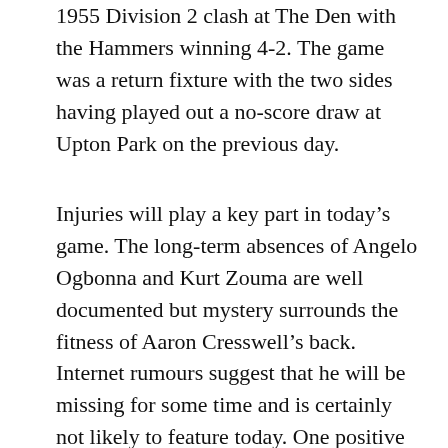1955 Division 2 clash at The Den with the Hammers winning 4-2. The game was a return fixture with the two sides having played out a no-score draw at Upton Park on the previous day.
Injuries will play a key part in today’s game. The long-term absences of Angelo Ogbonna and Kurt Zouma are well documented but mystery surrounds the fitness of Aaron Cresswell’s back. Internet rumours suggest that he will be missing for some time and is certainly not likely to feature today. One positive coming out of Wednesday’s Carabao cup exit, however, was that Vladimir Coufal was able to serve his one match suspension. He and Ben Johnson will fill the full-back slots with